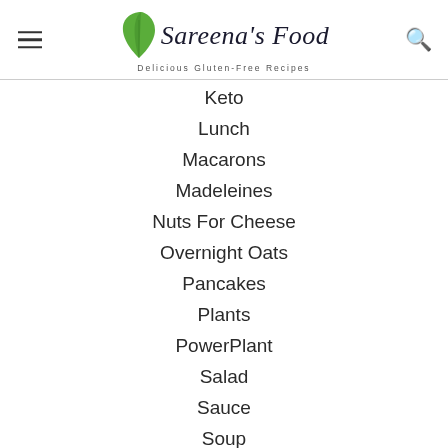Sareena's Food — Delicious Gluten-Free Recipes
Keto
Lunch
Macarons
Madeleines
Nuts For Cheese
Overnight Oats
Pancakes
Plants
PowerPlant
Salad
Sauce
Soup (partial)